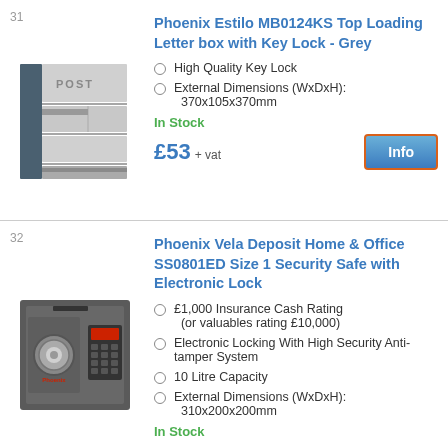31
[Figure (photo): Phoenix Estilo MB0124KS grey top loading letter box with key lock, showing POST text and grey/dark metal body]
Phoenix Estilo MB0124KS Top Loading Letter box with Key Lock - Grey
High Quality Key Lock
External Dimensions (WxDxH): 370x105x370mm
In Stock
£53 + vat
32
[Figure (photo): Phoenix Vela Deposit Home & Office SS0801ED security safe with electronic keypad lock and deposit slot on top, dark grey metal body]
Phoenix Vela Deposit Home & Office SS0801ED Size 1 Security Safe with Electronic Lock
£1,000 Insurance Cash Rating (or valuables rating £10,000)
Electronic Locking With High Security Anti-tamper System
10 Litre Capacity
External Dimensions (WxDxH): 310x200x200mm
In Stock